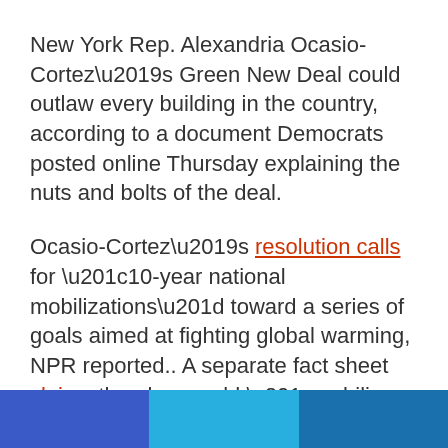New York Rep. Alexandria Ocasio-Cortez’s Green New Deal could outlaw every building in the country, according to a document Democrats posted online Thursday explaining the nuts and bolts of the deal.
Ocasio-Cortez’s resolution calls for “10-year national mobilizations” toward a series of goals aimed at fighting global warming, NPR reported.. A separate fact sheet claims the plan would “mobilize every aspect of American society on a scale not seen since World War 2.”
[Figure (other): Three horizontal color bars at the bottom of the page: left bar is medium blue (#3a5bc7), center bar is light cyan-blue (#29aee0), right bar is dark blue (#1a6fad)]